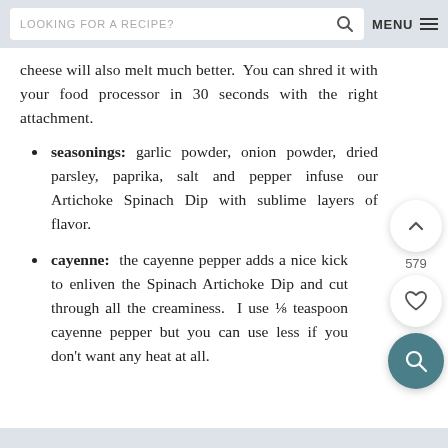LOOKING FOR A RECIPE?  MENU
cheese will also melt much better.  You can shred it with your food processor in 30 seconds with the right attachment.
seasonings: garlic powder, onion powder, dried parsley, paprika, salt and pepper infuse our Artichoke Spinach Dip with sublime layers of flavor.
cayenne:  the cayenne pepper adds a nice kick to enliven the Spinach Artichoke Dip and cut through all the creaminess.  I use ⅛ teaspoon cayenne pepper but you can use less if you don't want any heat at all.